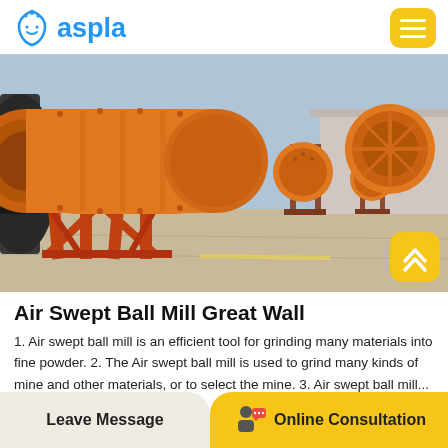aspla
[Figure (photo): Large orange industrial ball mills lined up in a row outdoors on a concrete surface. The foreground shows a large cylindrical orange ball mill with a circular opening. Multiple similar machines are visible in the background.]
Air Swept Ball Mill Great Wall
1. Air swept ball mill is an efficient tool for grinding many materials into fine powder. 2. The Air swept ball mill is used to grind many kinds of mine and other materials, or to select the mine. 3. Air swept ball mill...
Leave Message   Online Consultation